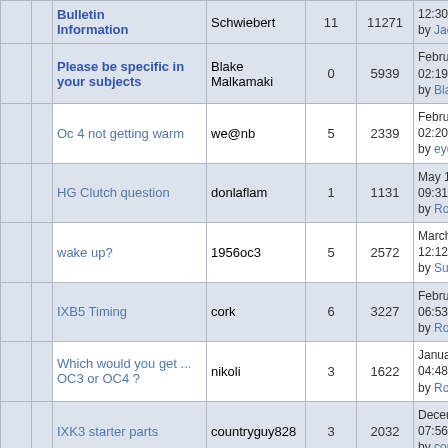|  |  | Subject | Author | Replies | Views | Last Post |
| --- | --- | --- | --- | --- | --- | --- |
|  |  | Bulletin Information | Schwiebert | 11 | 11271 | 12:30:04 PM by Jack in NB |
|  |  | Please be specific in your subjects | Blake Malkamaki | 0 | 5939 | February 14, 2005, 02:19:38 PM by Blake Malkamaki |
|  |  | Oc 4 not getting warm | we@nb | 5 | 2339 | February 02, 2022, 02:20:04 PM by eyeball-shifter |
|  |  | HG Clutch question | donlaflam | 1 | 1131 | May 11, 2020, 09:31:39 PM by Robert Barbour |
|  |  | wake up? | 1956oc3 | 5 | 2572 | March 15, 2020, 12:12:45 PM by Subgates |
|  |  | IXB5 Timing | cork | 6 | 3227 | February 26, 2020, 06:53:04 PM by Robert Barbour |
|  |  | Which would you get ... OC3 or OC4 ? | nikoli | 3 | 1622 | January 17, 2020, 04:48:42 PM by Robert Barbour |
|  |  | IXK3 starter parts | countryguy828 | 3 | 2032 | December 06, 2018, 07:56:40 PM by countryguy828 |